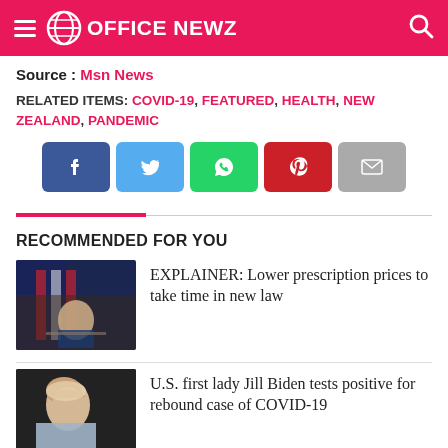OFFICE NEWZ
Source : Msn News
RELATED ITEMS: COVID-19, FEATURED, HEALTH, NEW ZEALAND, PANDEMIC
[Figure (other): Social share buttons: Facebook, Twitter, WhatsApp, Pinterest, Email]
RECOMMENDED FOR YOU
[Figure (photo): Photo of a signing ceremony with American flags]
EXPLAINER: Lower prescription prices to take time in new law
[Figure (photo): Photo of Jill Biden]
U.S. first lady Jill Biden tests positive for rebound case of COVID-19